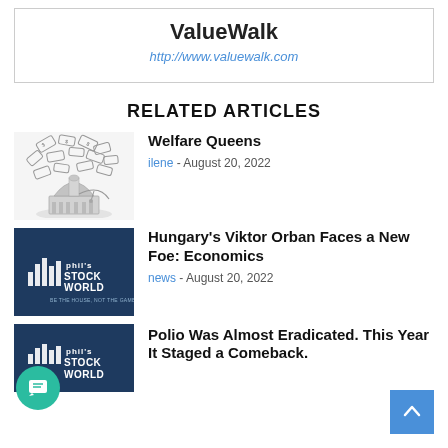ValueWalk
http://www.valuewalk.com
RELATED ARTICLES
[Figure (illustration): Illustration of money/dollar bills scattered above a government building dome]
Welfare Queens
ilene - August 20, 2022
[Figure (logo): Phil's StockWorld logo on dark navy background]
Hungary's Viktor Orban Faces a New Foe: Economics
news - August 20, 2022
[Figure (logo): Phil's StockWorld logo on dark navy background, partially visible]
Polio Was Almost Eradicated. This Year It Staged a Comeback.